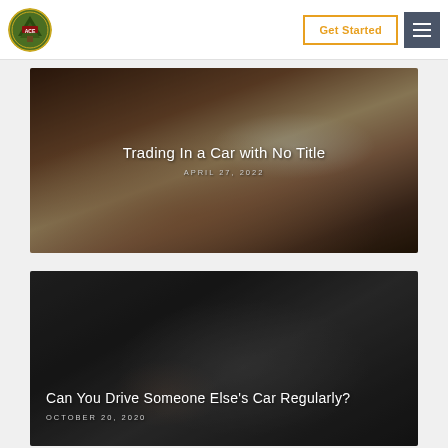[Figure (logo): Circular green logo with tree icon and ACE text]
Get Started
[Figure (illustration): Hand holding car keys with small white toy car - photo overlay for article about trading in a car with no title]
Trading In a Car with No Title
APRIL 27, 2022
[Figure (photo): Hands exchanging car keys in dark setting - photo overlay for article about driving someone else's car regularly]
Can You Drive Someone Else's Car Regularly?
OCTOBER 20, 2020
[Figure (photo): Partial view of car interior/exterior in dark blue tone - third article image partially visible]